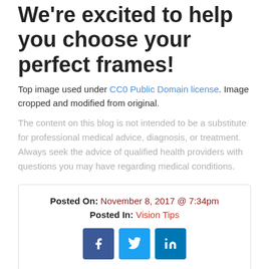We're excited to help you choose your perfect frames!
Top image used under CC0 Public Domain license. Image cropped and modified from original.
The content on this blog is not intended to be a substitute for professional medical advice, diagnosis, or treatment. Always seek the advice of qualified health providers with questions you may have regarding medical conditions.
Posted On: November 8, 2017 @ 7:34pm
Posted In: Vision Tips
[Figure (other): Social media sharing icons for Facebook, Twitter, and LinkedIn]
← Look How Far Corrective Lenses Have